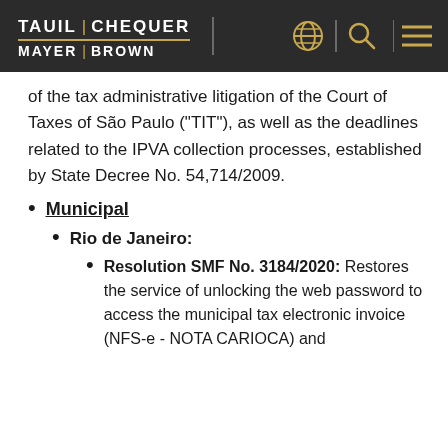TAUIL | CHEQUER MAYER | BROWN
of the tax administrative litigation of the Court of Taxes of São Paulo ("TIT"), as well as the deadlines related to the IPVA collection processes, established by State Decree No. 54,714/2009.
Municipal
Rio de Janeiro:
Resolution SMF No. 3184/2020: Restores the service of unlocking the web password to access the municipal tax electronic invoice (NFS-e - NOTA CARIOCA) and